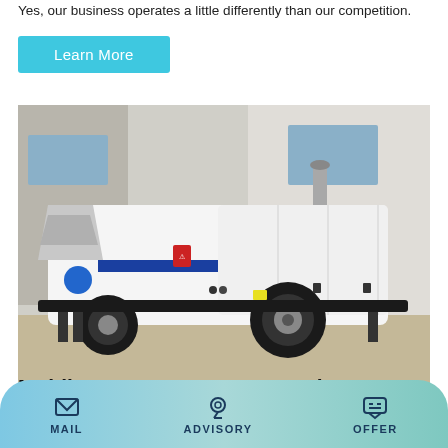Yes, our business operates a little differently than our competition.
Learn More
[Figure (photo): A white and blue mobile concrete pump on wheels parked in front of a building. The machine has a large hopper on the left, a blue chevron stripe pattern on the body, and an exhaust pipe on top.]
Mobile Concrete Pump For Sale - Quality Concrete Plants
MAIL   ADVISORY   OFFER